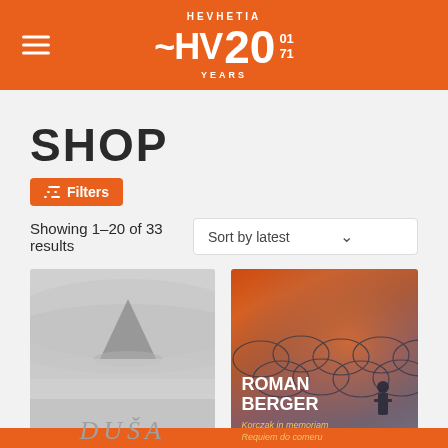HEVHETIA ~HV20 YEARS 01 71
SHOP
Filters
Showing 1–20 of 33 results
Sort by latest
[Figure (photo): Album cover: misty mountain in fog, grayscale, with text DUŠA at bottom]
[Figure (photo): Album cover: Roman Berger - orange hazy sky with barbed wire silhouette and person. Text: ROMAN BERGER, Korczak in memoriam, Requiem do comeru]